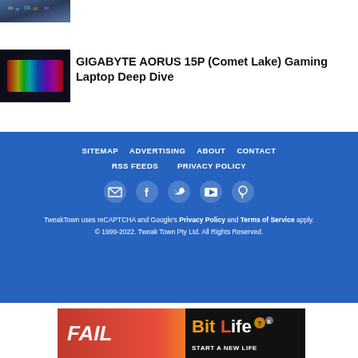[Figure (photo): Small thumbnail image of electronics/circuit board at top left]
[Figure (photo): Thumbnail of RGB gaming keyboard with colorful backlit keys in dark setting]
GIGABYTE AORUS 15P (Comet Lake) Gaming Laptop Deep Dive
[Figure (infographic): Blue footer section with navigation links: SITEMAP, ADVERTISING, ABOUT, CONTACT, RSS FEEDS, PRIVACY POLICY, and social media icons for email, Facebook, Twitter, YouTube, Pinterest]
TweakTown uses reCAPTCHA and Google's Privacy Policy and Terms of Service apply.
© 1999-2022. Tweak Town Pty Ltd. All Rights Reserved.
[Figure (photo): BitLife advertisement banner: FAIL text with cartoon character, fire graphics, and START A NEW LIFE text on dark right panel]